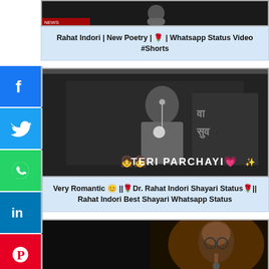Rahat Indori | New Poetry | 🌹 | Whatsapp Status Video #Shorts
[Figure (screenshot): Black and white video thumbnail showing a man at a podium speaking, with text overlay 'TERI PARCHAYI 💗✨' and two girl emoji icons]
Very Romantic 😊 ||🌹Dr. Rahat Indori Shayari Status🌹|| Rahat Indori Best Shayari Whatsapp Status
[Figure (screenshot): Video thumbnail showing a man speaking at an event, partially visible]
[Figure (screenshot): Social media share buttons sidebar: Facebook, Twitter, WhatsApp, LinkedIn, Pinterest, Telegram, More]